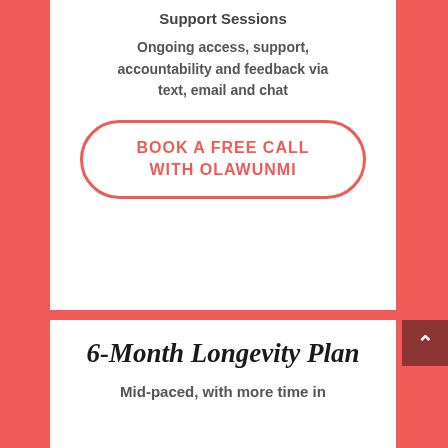Support Sessions
Ongoing access, support, accountability and feedback via text, email and chat
BOOK A FREE CALL WITH OLAWUNMI
6-Month Longevity Plan
Mid-paced, with more time in